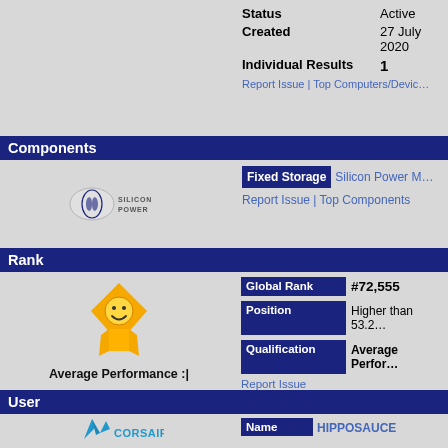| Field | Value |
| --- | --- |
| Status | Active |
| Created | 27 July 2020 |
| Individual Results | 1 |
Report Issue | Top Computers/Devices
Components
[Figure (logo): Silicon Power logo - small oval logo with stylized design and 'SILICON POWER' text]
| Field | Value |
| --- | --- |
| Fixed Storage | Silicon Power M |
Report Issue | Top Components
Rank
[Figure (illustration): Gold medal / award badge icon - yellow/gold diamond shape with smiley face and ribbon/banner below]
Average Performance :|
| Field | Value |
| --- | --- |
| Global Rank | #72,555 |
| Position | Higher than 53.2 |
| Qualification | Average Performance |
Report Issue
User
[Figure (logo): Corsair logo - blue stylized sails/ship logo with CORSAIR text]
HIPPOSAUCE
| Field | Value |
| --- | --- |
| Name | HIPPOSAUCE |
| Status | Active |
| Country | USA |
Report Issue | Top Users | Details for
Team
| Field | Value |
| --- | --- |
| Name | Corsair |